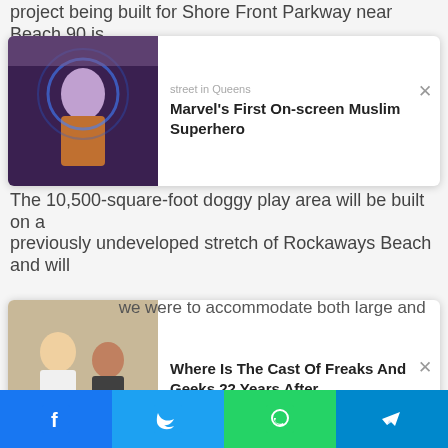project being built for Shore Front Parkway near Beach 90 is
[Figure (screenshot): Notification card: Marvel's First On-screen Muslim Superhero with thumbnail image of woman with glowing blue effects]
The 10,500-square-foot doggy play area will be built on a previously undeveloped stretch of Rockaways Beach and will
[Figure (screenshot): Notification card: Where Is The Cast Of Freaks And Geeks 22 Years After with thumbnail image of two people]
SPONSORED CONTENT
[Figure (logo): mgid logo with play button icon]
[Figure (photo): Photo of family group - First Daughters article]
'First Daughters': From Cute Little Kids To Beautiful Young Women
Herbeauty
[Figure (photo): Photo for VS article]
This Is What Made VS Quickly Jump To Sign
[Figure (infographic): Social share bar with Facebook, Twitter, WhatsApp, Telegram buttons]